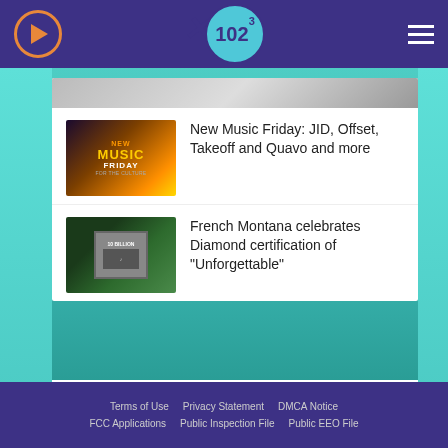X102.3 radio station header with play button and hamburger menu
[Figure (screenshot): New Music Friday thumbnail with headphones graphic and orange glow background]
New Music Friday: JID, Offset, Takeoff and Quavo and more
[Figure (screenshot): French Montana photo with 10 Billion plaque]
French Montana celebrates Diamond certification of "Unforgettable"
[Figure (other): Advertisement: Is Social Media Advertising too Complex? GET HELP NOW — 2060 Digital]
Terms of Use   Privacy Statement   DMCA Notice   FCC Applications   Public Inspection File   Public EEO File